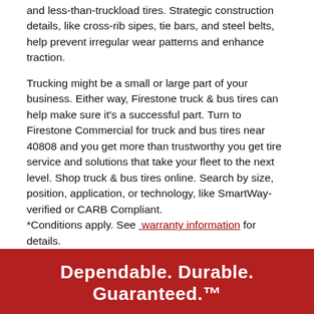and less-than-truckload tires. Strategic construction details, like cross-rib sipes, tie bars, and steel belts, help prevent irregular wear patterns and enhance traction.
Trucking might be a small or large part of your business. Either way, Firestone truck & bus tires can help make sure it's a successful part. Turn to Firestone Commercial for truck and bus tires near 40808 and you get more than trustworthy you get tire service and solutions that take your fleet to the next level. Shop truck & bus tires online. Search by size, position, application, or technology, like SmartWay-verified or CARB Compliant. *Conditions apply. See warranty information for details.
Dependable. Durable. Guaranteed.™
Give these tires 90 days. If they don't live up to your expectations, just give them back.* That's the 90-Day Buy and Try Guarantee™.
GET THE DETAILS